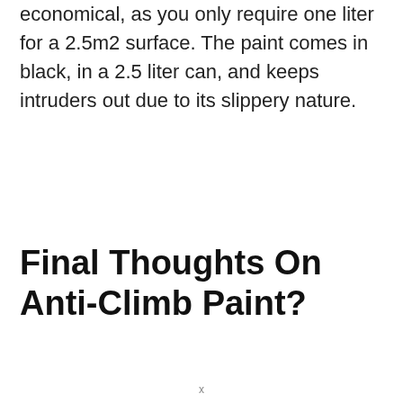economical, as you only require one liter for a 2.5m2 surface. The paint comes in black, in a 2.5 liter can, and keeps intruders out due to its slippery nature.
Final Thoughts On Anti-Climb Paint?
x